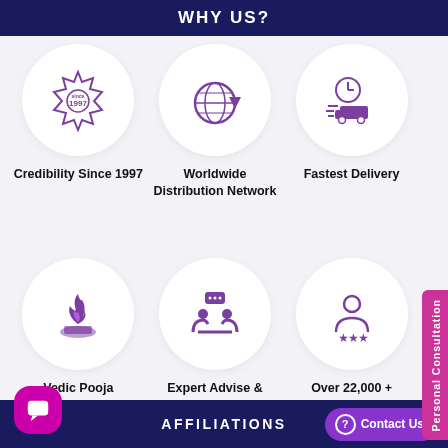WHY US?
[Figure (infographic): Six circular icons in a 3x2 grid on a light gray background. Row 1: (1) Badge/seal with '1997', (2) Globe with orbit arrow, (3) Clock with delivery truck. Row 2: (4) Flame on stones (Vedic fire), (5) Two people consulting with chat bubble, (6) Person figure with stars.]
Credibility Since 1997
Worldwide Distribution Network
Fastest Delivery
Vedic Pooja Energization
Expert Advise & Counselling
Over 22,000 + Testimonials
Personal Consultation
AFFILIATIONS
Contact Us